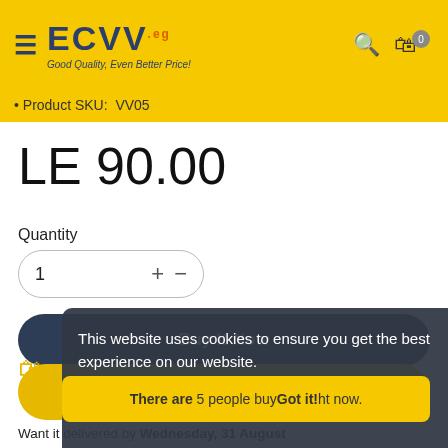ECVV — Good Quality, Even Better Price!
Product SKU: VV05
LE 90.00
Quantity
1
Buy It Now
This website uses cookies to ensure you get the best experience on our website. Learn more
Add to cart
Got it!
There are 5 people buying right now.
Want it delivered by Wednesday, 31 August